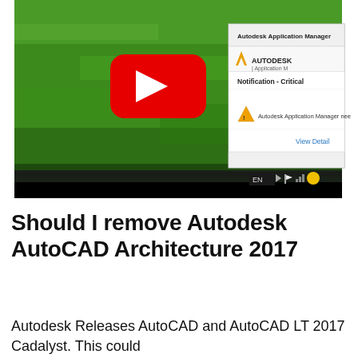[Figure (screenshot): YouTube video thumbnail showing a screenshot of a Windows desktop with green grass wallpaper. A red YouTube play button is visible in the center-left. On the right side, an Autodesk Application Manager notification popup is visible with the header 'Autodesk Application Manager', the Autodesk logo, a 'Notification - Critical' section with a warning triangle icon, text 'Autodesk Application Manager nee...', and a 'View Detail' link. The taskbar at the bottom is dark with system tray icons including EN language indicator and other icons. The bottom strip of the video area is black.]
Should I remove Autodesk AutoCAD Architecture 2017
Autodesk Releases AutoCAD and AutoCAD LT 2017 Cadalyst. This could